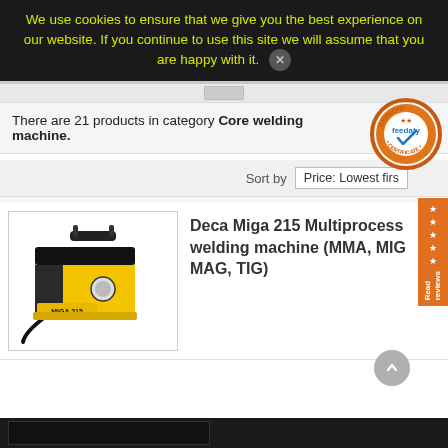We use cookies to ensure that we give you the best experience on our website. If you continue to use this site we will assume that you are happy with it.
There are 21 products in category Core welding machine.
[Figure (logo): Feedaty Opinioni Certificate badge - circular orange stamp logo]
Sort by   Price: Lowest firs
[Figure (screenshot): Orange star ratings sidebar tab with 'Read reviews' text rotated vertically]
[Figure (photo): Product photo of Deca Miga 215 yellow multiprocess welding machine]
Deca Miga 215 Multiprocess welding machine (MMA, MIG MAG, TIG)
[Figure (photo): Partial view of another product at bottom of page, dark background]